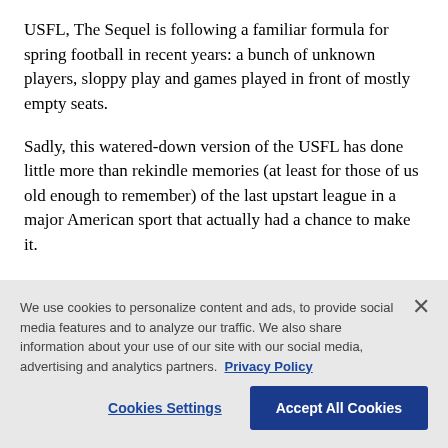USFL, The Sequel is following a familiar formula for spring football in recent years: a bunch of unknown players, sloppy play and games played in front of mostly empty seats.
Sadly, this watered-down version of the USFL has done little more than rekindle memories (at least for those of us old enough to remember) of the last upstart league in a major American sport that actually had a chance to make it.
We use cookies to personalize content and ads, to provide social media features and to analyze our traffic. We also share information about your use of our site with our social media, advertising and analytics partners. Privacy Policy